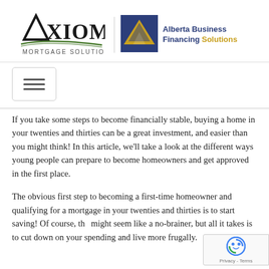[Figure (logo): Axiom Mortgage Solutions logo with stylized A and green swoosh, alongside Alberta Business Financing Solutions logo with blue/gold triangle icon]
[Figure (other): Hamburger menu button with three horizontal bars]
If you take some steps to become financially stable, buying a home in your twenties and thirties can be a great investment, and easier than you might think! In this article, we'll take a look at the different ways young people can prepare to become homeowners and get approved in the first place.
The obvious first step to becoming a first-time homeowner and qualifying for a mortgage in your twenties and thirties is to start saving! Of course, this might seem like a no-brainer, but all it takes is to cut down on your spending and live more frugally.